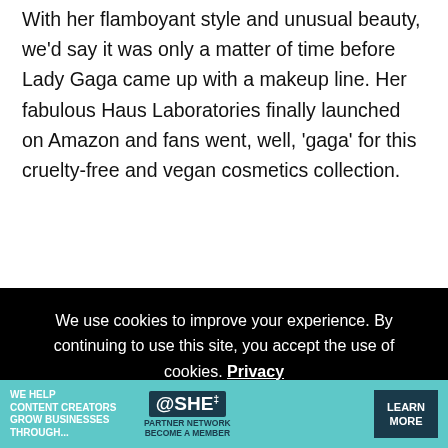With her flamboyant style and unusual beauty, we’d say it was only a matter of time before Lady Gaga came up with a makeup line. Her fabulous Haus Laboratories finally launched on Amazon and fans went, well, ‘gaga’ for this cruelty-free and vegan cosmetics collection.
[Figure (screenshot): Cookie consent banner on black background reading: We use cookies to improve your experience. By continuing to use this site, you accept the use of cookies. Privacy Policy | Accept button]
must be said that given Amazon’s poor human rights and ethics record, some fans were disappointed with Gaga’s choice to launch her line with them. But at least
[Figure (screenshot): Advertisement banner for SHE Partner Network: We help content creators grow businesses through... Learn More]